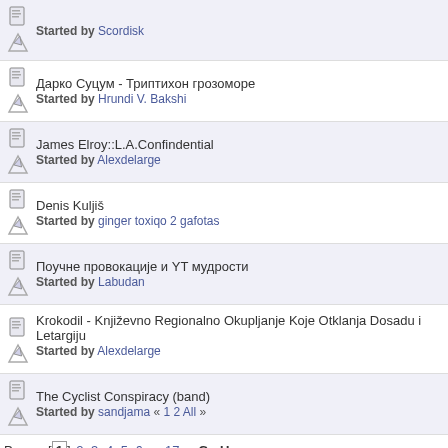Started by Scordisk
Дарко Суцум - Триптихон грозоморе
Started by Hrundi V. Bakshi
James Elroy::L.A.Confindential
Started by Alexdelarge
Denis Kuljiš
Started by ginger toxiqo 2 gafotas
Поучне провокације и YT мудрости
Started by Labudan
Krokodil - Književno Regionalno Okupljanje Koje Otklanja Dosadu i Letargiju
Started by Alexdelarge
The Cyclist Conspiracy (band)
Started by sandjama « 1 2 All »
Pages: [1] 2 3 4 5 6 ... 17   Go Up
ZNAK SAGITE — više od fantastike — edicija, časopis, knjižara... » DRUGA STRANA SV UMETNOST I KULTURA
Normal Topic | Locked Topic | Hot Topic (More than 100 replies) | Sticky Topic | Very Hot Topic (More than 500 replies) | Poll